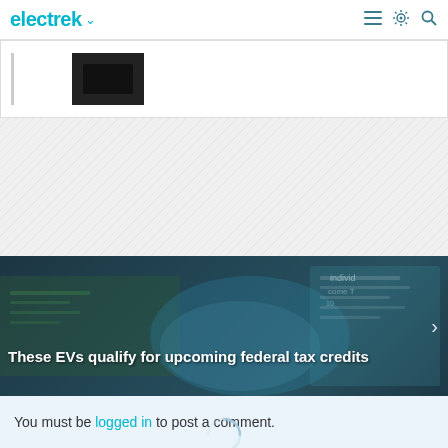electrek
[Figure (screenshot): Partial product card with a dark device/battery image on white background with border]
[Figure (other): Hatched gray diagonal pattern area (advertisement placeholder)]
[Figure (photo): Article banner with dark overlay on photo of hands holding money/tax documents with teal tones. Title: These EVs qualify for upcoming federal tax credits]
You must be logged in to post a comment.
[Figure (other): Loading spinner (partial circular arc, light blue)]